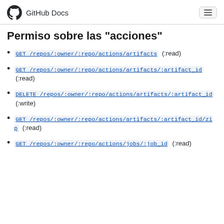GitHub Docs
Permiso sobre las "acciones"
GET /repos/:owner/:repo/actions/artifacts (:read)
GET /repos/:owner/:repo/actions/artifacts/:artifact_id (:read)
DELETE /repos/:owner/:repo/actions/artifacts/:artifact_id (:write)
GET /repos/:owner/:repo/actions/artifacts/:artifact_id/zip (:read)
GET /repos/:owner/:repo/actions/jobs/:job_id (:read)